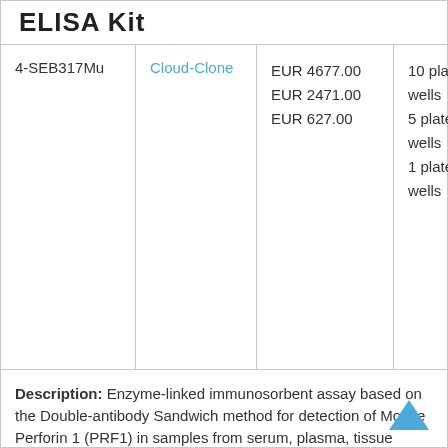ELISA Kit
| Catalog | Brand | Price | Size |
| --- | --- | --- | --- |
| 4-SEB317Mu | Cloud-Clone | EUR 4677.00
EUR 2471.00
EUR 627.00 | 10 plates of 96 wells
5 plates of 96 wells
1 plate of 96 wells |
Description: Enzyme-linked immunosorbent assay based on the Double-antibody Sandwich method for detection of Mouse Perforin 1 (PRF1) in samples from serum, plasma, tissue homogenates, cell lysates, cell culture supernates and other biological